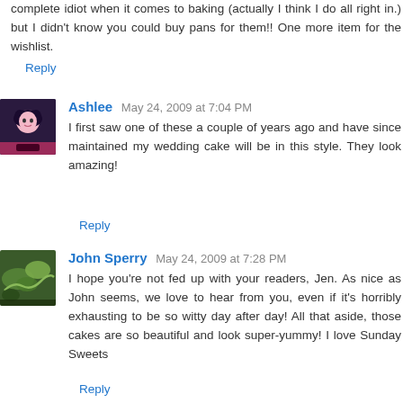complete idiot when it comes to baking (actually I think I do all right in.) but I didn't know you could buy pans for them!! One more item for the wishlist.
Reply
Ashlee May 24, 2009 at 7:04 PM
I first saw one of these a couple of years ago and have since maintained my wedding cake will be in this style. They look amazing!
Reply
John Sperry May 24, 2009 at 7:28 PM
I hope you're not fed up with your readers, Jen. As nice as John seems, we love to hear from you, even if it's horribly exhausting to be so witty day after day! All that aside, those cakes are so beautiful and look super-yummy! I love Sunday Sweets
Reply